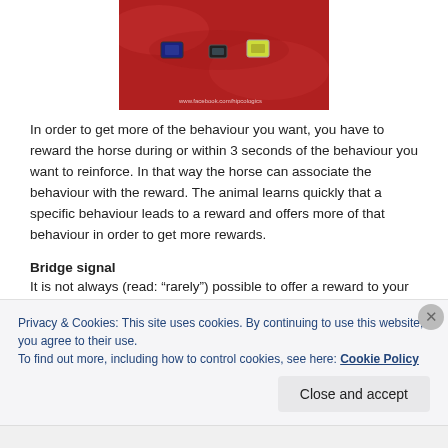[Figure (photo): Photo of red metallic material with electronic sensors/chips placed on it. Watermark text reads www.facebook.com/hipcologics]
In order to get more of the behaviour you want, you have to reward the horse during or within 3 seconds of the behaviour you want to reinforce. In that way the horse can associate the behaviour with the reward. The animal learns quickly that a specific behaviour leads to a reward and offers more of that behaviour in order to get more rewards.
Bridge signal
It is not always (read: “rarely”) possible to offer a reward to your horse within 3 seconds or even at the time the wanted
Privacy & Cookies: This site uses cookies. By continuing to use this website, you agree to their use.
To find out more, including how to control cookies, see here: Cookie Policy
Close and accept